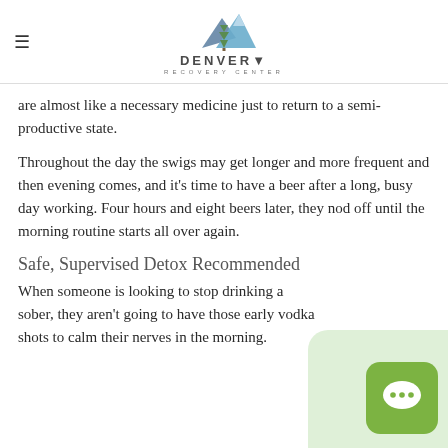Denver Recovery Center
are almost like a necessary medicine just to return to a semi-productive state.
Throughout the day the swigs may get longer and more frequent and then evening comes, and it's time to have a beer after a long, busy day working. Four hours and eight beers later, they nod off until the morning routine starts all over again.
Safe, Supervised Detox Recommended
When someone is looking to stop drinking and get sober, they aren't going to have those early vodka shots to calm their nerves in the morning.
[Figure (illustration): Green chat bubble icon with three dots, overlaid on a light green rounded rectangle background in the bottom-right corner]